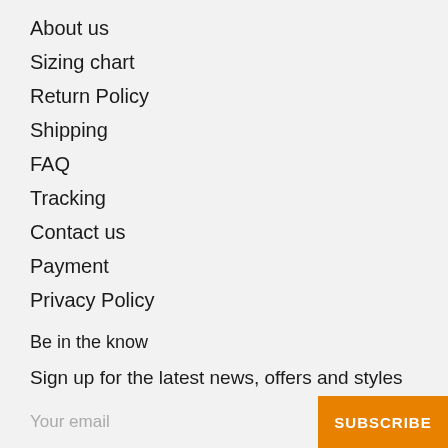About us
Sizing chart
Return Policy
Shipping
FAQ
Tracking
Contact us
Payment
Privacy Policy
Be in the know
Sign up for the latest news, offers and styles
Your email
SUBSCRIBE